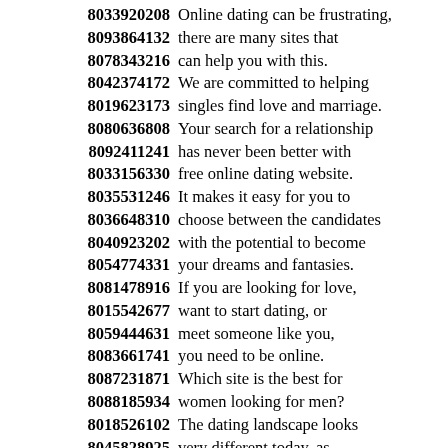8033920208 Online dating can be frustrating,
8093864132 there are many sites that
8078343216 can help you with this.
8042374172 We are committed to helping
8019623173 singles find love and marriage.
8080636808 Your search for a relationship
8092411241 has never been better with
8033156330 free online dating website.
8035531246 It makes it easy for you to
8036648310 choose between the candidates
8040923202 with the potential to become
8054774331 your dreams and fantasies.
8081478916 If you are looking for love,
8015542677 want to start dating, or
8059444631 meet someone like you,
8083661741 you need to be online.
8087231871 Which site is the best for
8088185934 women looking for men?
8018526102 The dating landscape looks
8045828925 very different today, as
8073447527 people are meeting in person.
8025211162
8088438705 You will make connections
8097824554 with the information provided
8034260398 without face to face contact
8059488130 comfortable for some people